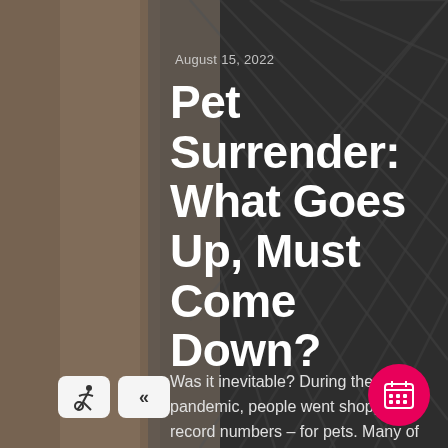[Figure (photo): Background photo of a cat and chain-link fence, split dark and light, used as a full-bleed article hero image]
August 15, 2022
Pet Surrender: What Goes Up, Must Come Down?
Was it inevitable? During the pandemic, people went shopping in record numbers – for pets. Many of these purchases were by new owners adopting a pet for the first time,…